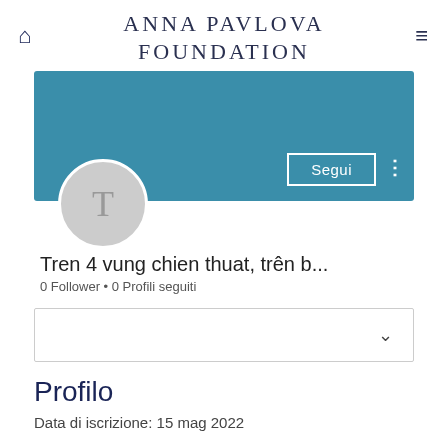ANNA PAVLOVA FOUNDATION
[Figure (screenshot): Social profile banner area with teal/blue background, avatar circle with letter T, Segui button, and three-dots menu icon]
Tren 4 vung chien thuat, trên b...
0 Follower • 0 Profili seguiti
[Figure (other): Dropdown/filter box with chevron down arrow]
Profilo
Data di iscrizione: 15 mag 2022